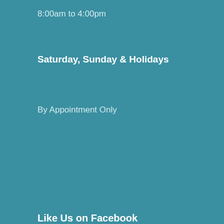8:00am to 4:00pm
Saturday, Sunday & Holidays
By Appointment Only
Like Us on Facebook